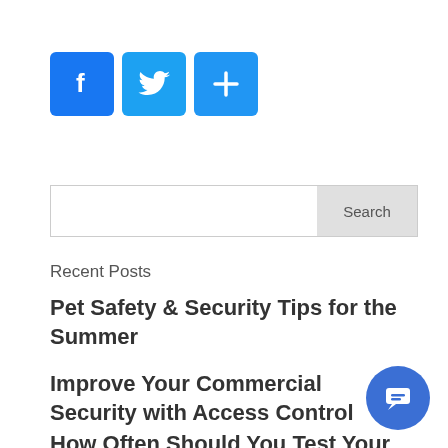[Figure (other): Social sharing buttons: Facebook (blue f icon), Twitter (blue bird icon), and a share/plus button (blue plus icon)]
[Figure (other): Search bar with text input and Search button on the right]
Recent Posts
Pet Safety & Security Tips for the Summer
Improve Your Commercial Security with Access Control
How Often Should You Test Your